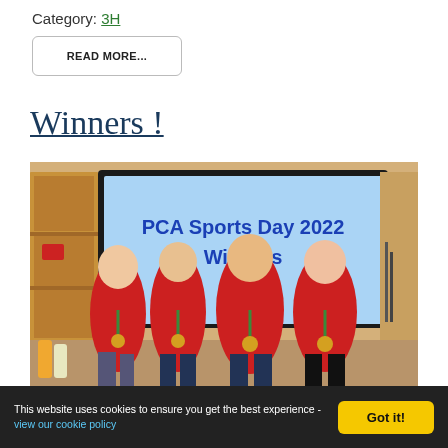Category: 3H
READ MORE...
Winners !
[Figure (photo): Four children in red school sports shirts and medals on green lanyards posing happily in front of a screen showing 'PCA Sports Day 2022 Winners'. Shelving and classroom items visible in background.]
This website uses cookies to ensure you get the best experience - view our cookie policy  Got it!